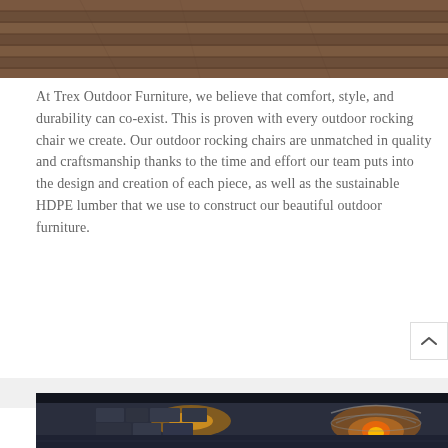[Figure (photo): Top portion of a wooden deck with brown horizontal planks, cropped at top of page]
At Trex Outdoor Furniture, we believe that comfort, style, and durability can co-exist. This is proven with every outdoor rocking chair we create. Our outdoor rocking chairs are unmatched in quality and craftsmanship thanks to the time and effort our team puts into the design and creation of each piece, as well as the sustainable HDPE lumber that we use to construct our beautiful outdoor furniture.
[Figure (photo): Nighttime outdoor scene of a circular stone fire pit with glowing flames inside a metal dome/cage, illuminated stone walls with warm yellow lighting]